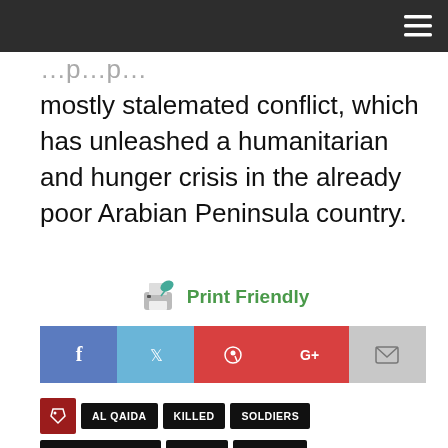mostly stalemated conflict, which has unleashed a humanitarian and hunger crisis in the already poor Arabian Peninsula country.
Print Friendly
[Figure (infographic): Social sharing buttons: Facebook, Twitter, Pinterest, Google+, Email]
AL QAIDA
KILLED
SOLDIERS
SUICIDE BOMBER
YEMEN
ZINJIBAR
« PREVIOUS
Hundreds denounce Netanyahu during Australia visit and brand him 'Fascist' and "war criminal"